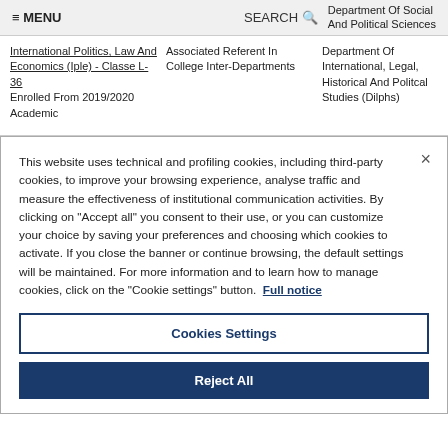≡ MENU    SEARCH 🔍    Department Of Social And Political Sciences
International Politics, Law And Economics (Iple) - Classe L-36 Enrolled From 2019/2020 Academic    Associated Referent In College Inter-Departments    Department Of International, Legal, Historical And Politcal Studies (Dilphs)
This website uses technical and profiling cookies, including third-party cookies, to improve your browsing experience, analyse traffic and measure the effectiveness of institutional communication activities. By clicking on "Accept all" you consent to their use, or you can customize your choice by saving your preferences and choosing which cookies to activate. If you close the banner or continue browsing, the default settings will be maintained. For more information and to learn how to manage cookies, click on the "Cookie settings" button. Full notice
Cookies Settings
Reject All